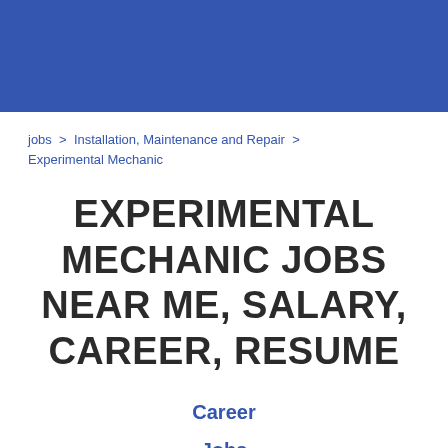jobs > Installation, Maintenance and Repair > Experimental Mechanic
EXPERIMENTAL MECHANIC JOBS NEAR ME, SALARY, CAREER, RESUME
Career
Jobs
Salary
Remote
Resume